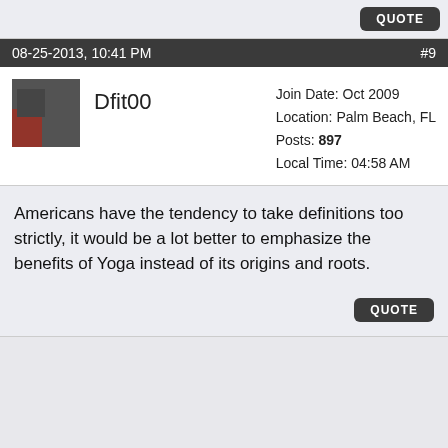QUOTE
08-25-2013, 10:41 PM  #9
Dfit00
Join Date: Oct 2009
Location: Palm Beach, FL
Posts: 897
Local Time: 04:58 AM
Americans have the tendency to take definitions too strictly, it would be a lot better to emphasize the benefits of Yoga instead of its origins and roots.